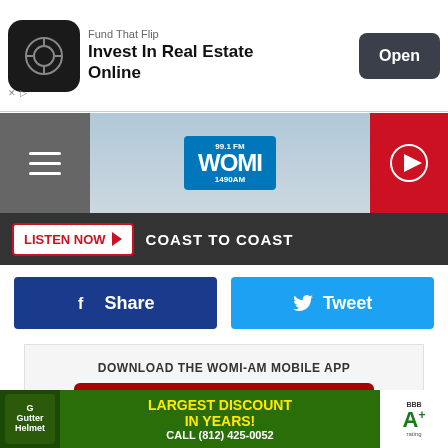[Figure (screenshot): Ad banner: Fund That Flip – Invest In Real Estate Online, with Open button]
[Figure (logo): WOMI 99.1 FM / 1490 AM radio station header with hamburger menu and play button]
LISTEN NOW  COAST TO COAST
Share
Tweet
DOWNLOAD THE WOMI-AM MOBILE APP
GET OUR FREE MOBILE APP
Also listen on:  amazon alexa
[Figure (screenshot): Gutter Helmet ad: Largest Discount In Years! Call (812) 425-0052, BBB A+ rating]